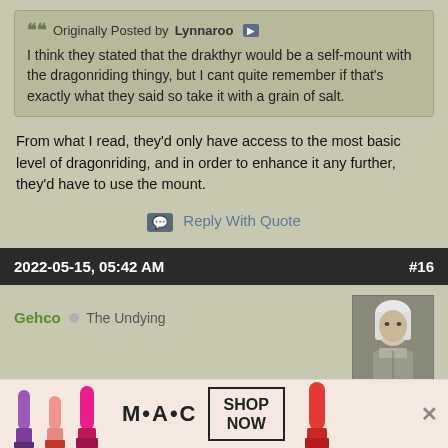Originally Posted by Lynnaroo — I think they stated that the drakthyr would be a self-mount with the dragonriding thingy, but I cant quite remember if that's exactly what they said so take it with a grain of salt.
From what I read, they'd only have access to the most basic level of dragonriding, and in order to enhance it any further, they'd have to use the mount.
Reply With Quote
2022-05-15, 05:42 AM
#16
Gehco ○ The Undying
[Figure (photo): Avatar of user Gehco showing a white-haired character in armor]
Originally Posted by bruxx — Hello guys, I am aware that there was a previous poll on the matter. Sadly, it was presented as a double barreled question and doesn't allow us to prop... cla...
[Figure (infographic): MAC cosmetics advertisement banner with lipsticks and SHOP NOW button]